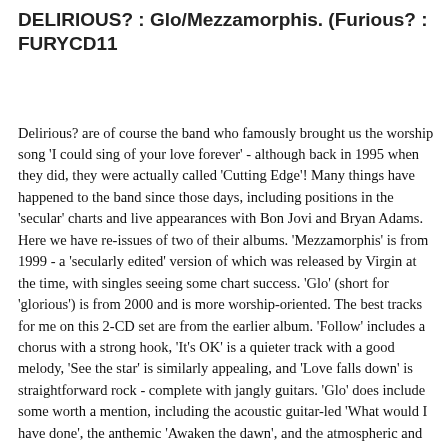DELIRIOUS? : Glo/Mezzamorphis. (Furious? : FURYCD11
Delirious? are of course the band who famously brought us the worship song 'I could sing of your love forever' - although back in 1995 when they did, they were actually called 'Cutting Edge'! Many things have happened to the band since those days, including positions in the 'secular' charts and live appearances with Bon Jovi and Bryan Adams. Here we have re-issues of two of their albums. 'Mezzamorphis' is from 1999 - a 'secularly edited' version of which was released by Virgin at the time, with singles seeing some chart success. 'Glo' (short for 'glorious') is from 2000 and is more worship-oriented. The best tracks for me on this 2-CD set are from the earlier album. 'Follow' includes a chorus with a strong hook, 'It's OK' is a quieter track with a good melody, 'See the star' is similarly appealing, and 'Love falls down' is straightforward rock - complete with jangly guitars. 'Glo' does include some worth a mention, including the acoustic guitar-led 'What would I have done', the anthemic 'Awaken the dawn', and the atmospheric and well sung 'Jesus blood'. My main problem with Delirious? is the poor sound quality of their studio-recorded output. These old ears struggle with the nasty digital/raspy edge to the vocals, the muddy